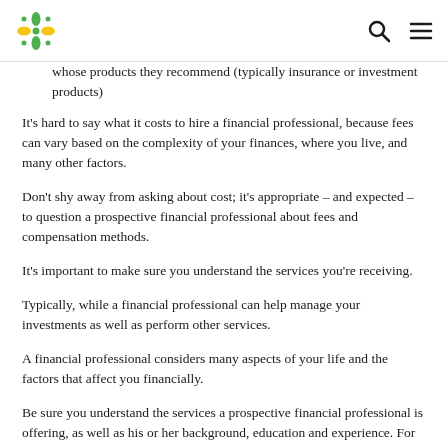[Logo] [Search icon] [Menu icon]
whose products they recommend (typically insurance or investment products)
It's hard to say what it costs to hire a financial professional, because fees can vary based on the complexity of your finances, where you live, and many other factors.
Don't shy away from asking about cost; it's appropriate – and expected – to question a prospective financial professional about fees and compensation methods.
It's important to make sure you understand the services you're receiving.
Typically, while a financial professional can help manage your investments as well as perform other services.
A financial professional considers many aspects of your life and the factors that affect you financially.
Be sure you understand the services a prospective financial professional is offering, as well as his or her background, education and experience. For good